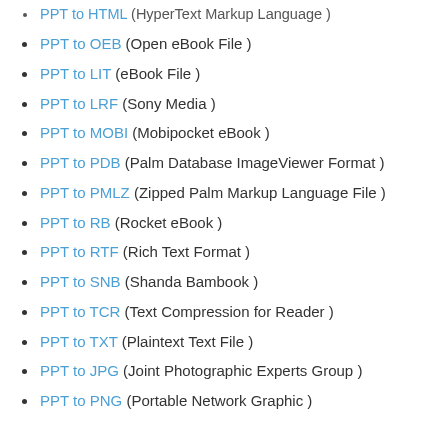PPT to HTML (HyperText Markup Language )
PPT to OEB (Open eBook File )
PPT to LIT (eBook File )
PPT to LRF (Sony Media )
PPT to MOBI (Mobipocket eBook )
PPT to PDB (Palm Database ImageViewer Format )
PPT to PMLZ (Zipped Palm Markup Language File )
PPT to RB (Rocket eBook )
PPT to RTF (Rich Text Format )
PPT to SNB (Shanda Bambook )
PPT to TCR (Text Compression for Reader )
PPT to TXT (Plaintext Text File )
PPT to JPG (Joint Photographic Experts Group )
PPT to PNG (Portable Network Graphic )